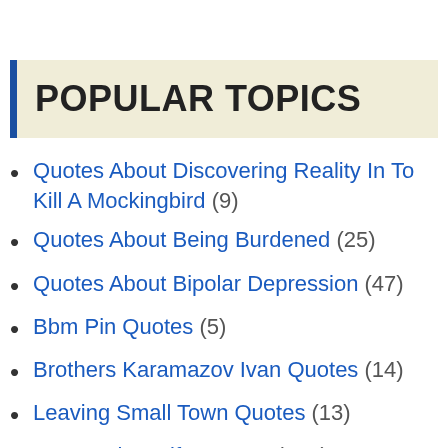POPULAR TOPICS
Quotes About Discovering Reality In To Kill A Mockingbird (9)
Quotes About Being Burdened (25)
Quotes About Bipolar Depression (47)
Bbm Pin Quotes (5)
Brothers Karamazov Ivan Quotes (14)
Leaving Small Town Quotes (13)
Love Makes Life Quotes (100)